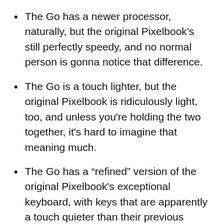The Go has a newer processor, naturally, but the original Pixelbook's still perfectly speedy, and no normal person is gonna notice that difference.
The Go is a touch lighter, but the original Pixelbook is ridiculously light, too, and unless you're holding the two together, it's hard to imagine that meaning much.
The Go has a "refined" version of the original Pixelbook's exceptional keyboard, with keys that are apparently a touch quieter than their previous already-quiet state.
And the Go has increased battery capacity